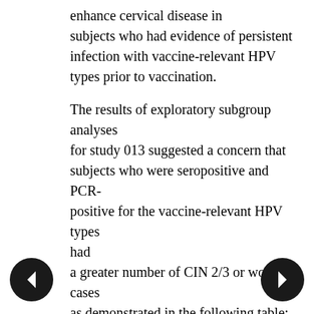enhance cervical disease in subjects who had evidence of persistent infection with vaccine-relevant HPV types prior to vaccination.
The results of exploratory subgroup analyses for study 013 suggested a concern that subjects who were seropositive and PCR-positive for the vaccine-relevant HPV types had a greater number of CIN 2/3 or worse cases as demonstrated in the following table: Table 17. Study 013: Applicant's analysis of efficacy against vaccine-relevant HPV types CIN 2/3 or worse among subjects who were PCR positive and seropositive for relevant HPV types at day 1. [From original BLA, study 013 CSR, Table 11-88, p. 636]